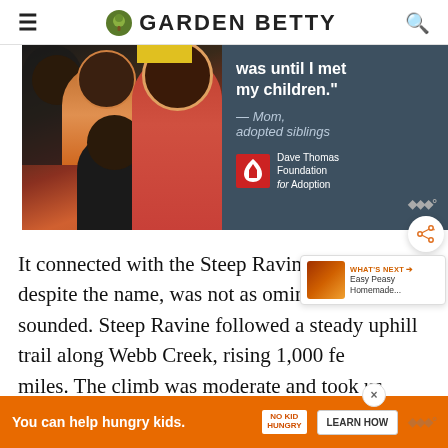GARDEN BETTY
[Figure (photo): Advertisement: Family photo with Dave Thomas Foundation for Adoption. Quote: 'was until I met my children.' — Mom, adopted siblings]
It connected with the Steep Ravine Trail which, despite the name, was not as ominous as it sounded. Steep Ravine followed a steady uphill trail along Webb Creek, rising 1,000 fe... miles. The climb was moderate and took us thr...